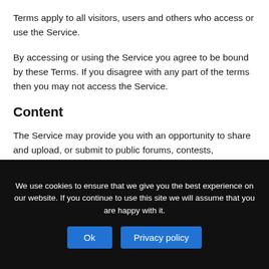Terms apply to all visitors, users and others who access or use the Service.
By accessing or using the Service you agree to be bound by these Terms. If you disagree with any part of the terms then you may not access the Service.
Content
The Service may provide you with an opportunity to share and upload, or submit to public forums, contests, sweepstakes, programs or other aspects of the Service, your photos, videos, text and other information (collectively any
We use cookies to ensure that we give you the best experience on our website. If you continue to use this site we will assume that you are happy with it.